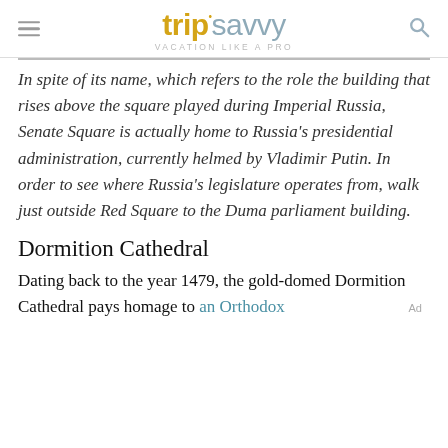tripsavvy VACATION LIKE A PRO
In spite of its name, which refers to the role the building that rises above the square played during Imperial Russia, Senate Square is actually home to Russia's presidential administration, currently helmed by Vladimir Putin. In order to see where Russia's legislature operates from, walk just outside Red Square to the Duma parliament building.
Dormition Cathedral
Dating back to the year 1479, the gold-domed Dormition Cathedral pays homage to an Orthodox